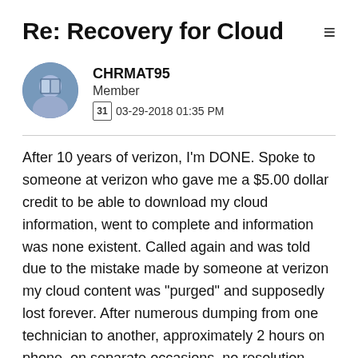Re: Recovery for Cloud
CHRMAT95
Member
03-29-2018 01:35 PM
After 10 years of verizon, I'm DONE. Spoke to someone at verizon who gave me a $5.00 dollar credit to be able to download my cloud information, went to complete and information was none existent. Called again and was told due to the mistake made by someone at verizon my cloud content was "purged" and supposedly lost forever. After numerous dumping from one technician to another, approximately 2 hours on phone, on separate occasions, no resolution. Transferred to supposed supervisor who said sorry I'd like to help but can't. This is unacceptable and need to be resolved. See you on social media